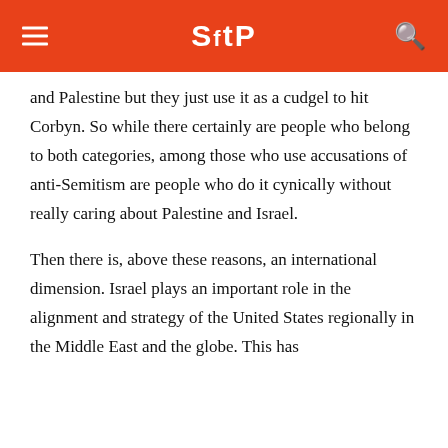SftP
and Palestine but they just use it as a cudgel to hit Corbyn. So while there certainly are people who belong to both categories, among those who use accusations of anti-Semitism are people who do it cynically without really caring about Palestine and Israel.
Then there is, above these reasons, an international dimension. Israel plays an important role in the alignment and strategy of the United States regionally in the Middle East and the globe. This has